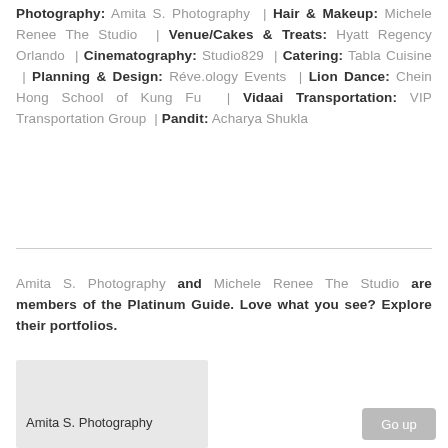Photography: Amita S. Photography | Hair & Makeup: Michele Renee The Studio | Venue/Cakes & Treats: Hyatt Regency Orlando | Cinematography: Studio829 | Catering: Tabla Cuisine | Planning & Design: Réve.ology Events | Lion Dance: Chein Hong School of Kung Fu | Vidaai Transportation: VIP Transportation Group | Pandit: Acharya Shukla
Amita S. Photography and Michele Renee The Studio are members of the Platinum Guide. Love what you see? Explore their portfolios.
[Figure (photo): Photo card placeholder for Amita S. Photography]
Amita S. Photography